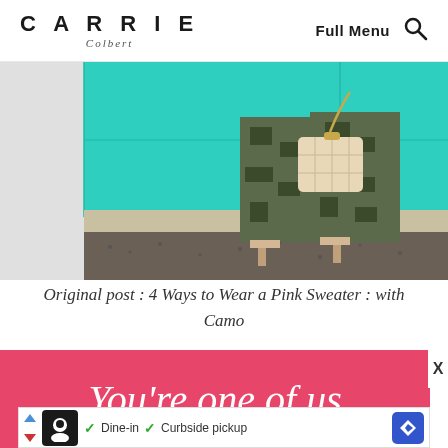CARRIE Colbert — Full Menu
[Figure (photo): Lower body of a person in camouflage pants and nude heeled sandals, holding a beige quilted chain-strap bag, standing against a turquoise/teal wall]
Original post : 4 Ways to Wear a Pink Sweater : with Camo
[Figure (infographic): Pink banner with white script text reading You're one of us]
[Figure (infographic): Advertisement bar with icon, checkmarks for Dine-in and Curbside pickup, and navigation arrow icon]